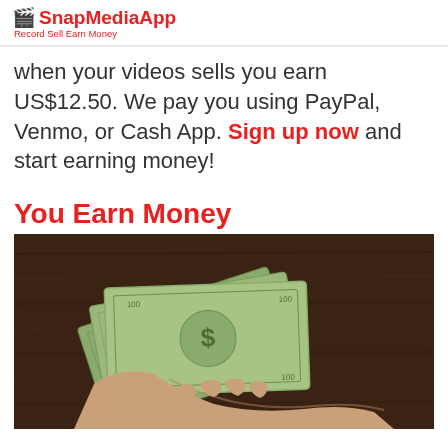SnapMediaApp — Record Sell Earn Money
when your videos sells you earn US$12.50. We pay you using PayPal, Venmo, or Cash App. Sign up now and start earning money!
You Earn Money
[Figure (photo): A hand holding a fan of US dollar bills against a dark wooden background]